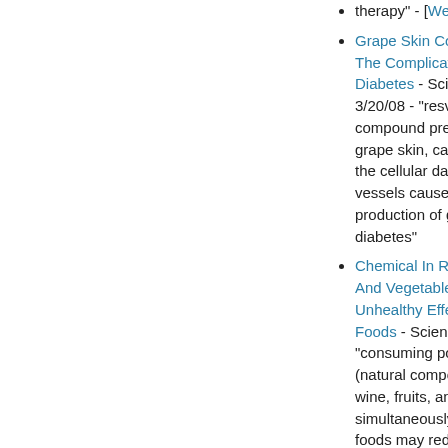therapy" - [WebML...
Grape Skin Compo... The Complications... Diabetes - Science N 3/20/08 - "resveratr... compound present n... grape skin, can prot... the cellular damage... vessels caused by h... production of gluco... diabetes"
Chemical In Red W... And Vegetables Co... Unhealthy Effects O... Foods - Science Da... "consuming polyph... (natural compounds... wine, fruits, and ve... simultaneously with... foods may reduce h... associated with thes...
Wine Compound Sp... Diabetes Research - 11/29/07 - "In Octo... Chinese researchers...